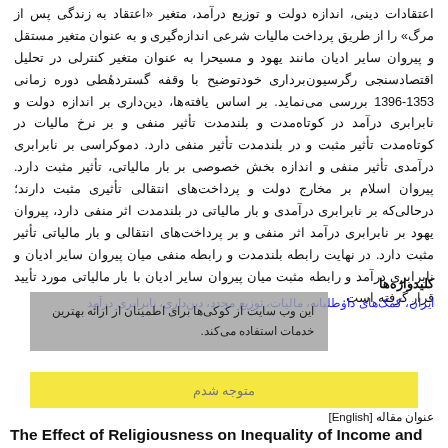اعتقادات دینی، اندازه دولت و توزیع درآمد، متغیر «اعتقاد به زندگی پس از مرگ» را از طریق پرداخت مالیات شرعی اندازه‌گیری و به عنوان متغیر مستقل و پیروان سایر ادیان مانند یهود و مسیحرا به عنوان متغیر کنترلی در تحلیل اقتصادسنجی رگرسیون‌برداری خودتوضیح با وقفه گستردهٔطی دوره زمانی 1353-1396 بررسی می‌نماید. بر اساس یافته‌ها، دین‌داری بر اندازه دولت و نابرابری درآمد در کوتاه‌مدت و بلندمدت تأثیر منفی و بر نرخ مالیات در کوتاه‌مدت تأثیر مثبت و در بلندمدت تأثیر منفی دارد. دموکراسی بر نابرابری درآمدی تأثیر منفی و اندازه بخش خصوصی بر بار مالیاتی، تأثیر مثبت دارد. پیروان اسلام بر مخارج دولت و پرداخت‌های انتقالی تأثیری مثبت دارند؛ درحالی‌که بر نابرابری درآمدی و بار مالیاتی در بلندمدت اثر منفی دارد، پیروان یهود بر نابرابری درآمد اثر منفی و بر پرداخت‌های انتقالی و بار مالیاتی تأثیر مثبت دارد. در نهایت رابطه بلندمدت و رابطه منفی میان پیروان سایر ادیان و نابرابری درآمد و رابطه مثبت میان پیروان سایر ادیان با بار مالیاتی مورد تأیید قرار گرفته است.
کلیدواژه‌ها
ایران، کمک‌های داوطلبانه، مالیات، توزیع مجدد، دین‌داری، نابرابری درآمد
این وب سایت از کوکی‌ها برای اطمینان از ارائه بهترین خدمات استفاده می‌کند.
متوجه شدم
عنوان مقاله [English]
The Effect of Religiousness on Inequality of Income and